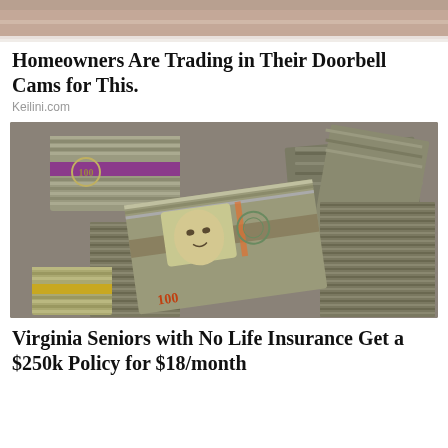[Figure (photo): Partial photo of a person's face/head, cropped at top of page]
Homeowners Are Trading in Their Doorbell Cams for This.
Keilini.com
[Figure (photo): Photo of large stacks of US $100 dollar bills bundled together on a surface]
Virginia Seniors with No Life Insurance Get a $250k Policy for $18/month